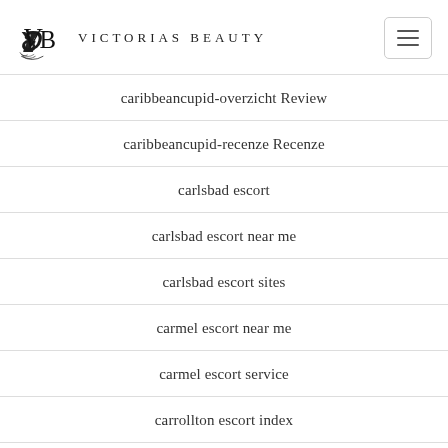Victorias Beauty
caribbeancupid-overzicht Review
caribbeancupid-recenze Recenze
carlsbad escort
carlsbad escort near me
carlsbad escort sites
carmel escort near me
carmel escort service
carrollton escort index
carrollton escort near me